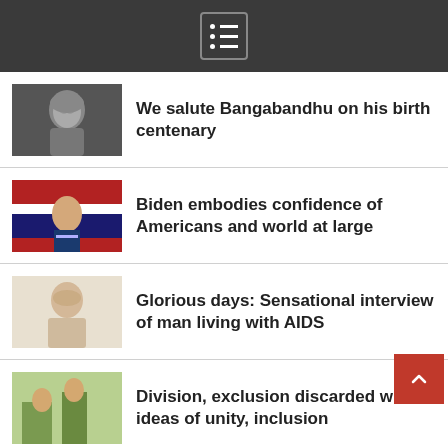Navigation menu icon
We salute Bangabandhu on his birth centenary
Biden embodies confidence of Americans and world at large
Glorious days: Sensational interview of man living with AIDS
Division, exclusion discarded with ideas of unity, inclusion
Glorious days: Campaign blocking waste import had life risks